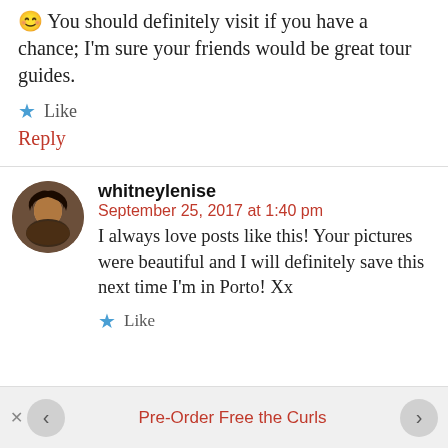😊 You should definitely visit if you have a chance; I'm sure your friends would be great tour guides.
★ Like
Reply
whitneylenise
September 25, 2017 at 1:40 pm
I always love posts like this! Your pictures were beautiful and I will definitely save this next time I'm in Porto! Xx
★ Like
Pre-Order Free the Curls